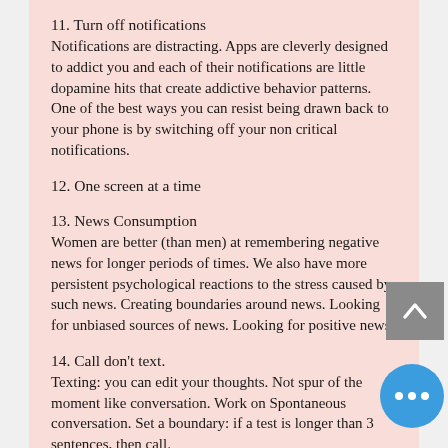11. Turn off notifications
Notifications are distracting. Apps are cleverly designed to addict you and each of their notifications are little dopamine hits that create addictive behavior patterns. One of the best ways you can resist being drawn back to your phone is by switching off your non critical notifications.
12. One screen at a time
13. News Consumption
Women are better (than men) at remembering negative news for longer periods of times. We also have more persistent psychological reactions to the stress caused by such news. Creating boundaries around news. Looking for unbiased sources of news. Looking for positive news.
14. Call don't text.
Texting: you can edit your thoughts. Not spur of the moment like conversation. Work on Spontaneous conversation. Set a boundary: if a test is longer than 3 sentences, then call.
15. Learn a new skill
Actively work on replacing tech time with other activities. You need to come up with